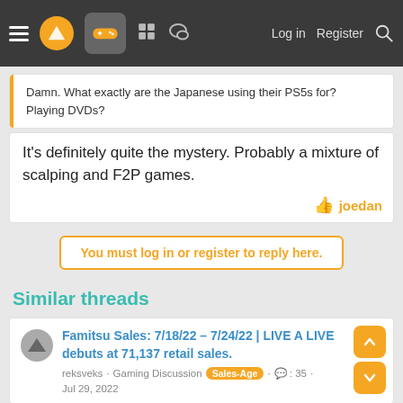Navigation bar with logo, gaming icon, forum icons, Log in, Register, Search
Damn. What exactly are the Japanese using their PS5s for? Playing DVDs?
It's definitely quite the mystery. Probably a mixture of scalping and F2P games.
joedan
You must log in or register to reply here.
Similar threads
Famitsu Sales: 7/18/22 – 7/24/22 | LIVE A LIVE debuts at 71,137 retail sales.
reksveks · Gaming Discussion · Sales-Age · 35 · Jul 29, 2022
Famitsu Sales: 5/16/22 – 5/22/22 - Taiko